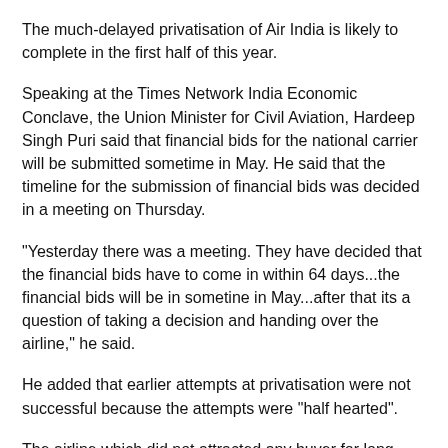The much-delayed privatisation of Air India is likely to complete in the first half of this year.
Speaking at the Times Network India Economic Conclave, the Union Minister for Civil Aviation, Hardeep Singh Puri said that financial bids for the national carrier will be submitted sometime in May. He said that the timeline for the submission of financial bids was decided in a meeting on Thursday.
"Yesterday there was a meeting. They have decided that the financial bids have to come in within 64 days...the financial bids will be in sometine in May...after that its a question of taking a decision and handing over the airline," he said.
He added that earlier attempts at privatisation were not successful because the attempts were "half hearted".
The airline which did not attracted any buyer for long now has witnessed Tata Sons and SpiceJet's promoter Ajay Singh come up as potential bidders, according to industry sources.
Further, reports suggest that Ajay Singh has partnered with Ras Al